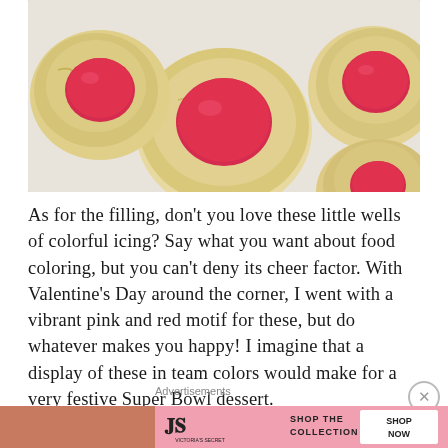[Figure (photo): Overhead view of round thumbprint cookies with bright pink/red icing centers on a light grey surface.]
As for the filling, don't you love these little wells of colorful icing? Say what you want about food coloring, but you can't deny its cheer factor. With Valentine's Day around the corner, I went with a vibrant pink and red motif for these, but do whatever makes you happy! I imagine that a display of these in team colors would make for a very festive Super Bowl dessert.
Advertisements
Advertisements
[Figure (screenshot): Victoria's Secret advertisement banner: woman with curly hair on left, VS logo in center, text 'SHOP THE COLLECTION' and button 'SHOP NOW' on right, pink background.]